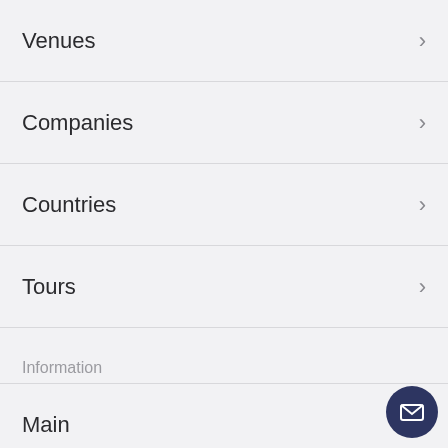Venues
Companies
Countries
Tours
Information
Main
FaQs